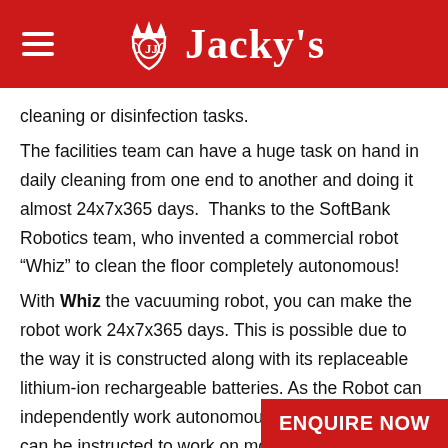Jacky's
cleaning or disinfection tasks.
The facilities team can have a huge task on hand in daily cleaning from one end to another and doing it almost 24x7x365 days.  Thanks to the SoftBank Robotics team, who invented a commercial robot “Whiz” to clean the floor completely autonomous!
With Whiz the vacuuming robot, you can make the robot work 24x7x365 days. This is possible due to the way it is constructed along with its replaceable lithium-ion rechargeable batteries. As the Robot can independently work autonomously, your manpower can be instructed to work on more sensitive points such as cleaning vertical objects and surfaces which a robot cannot handle. F
ENQUIRE NOW